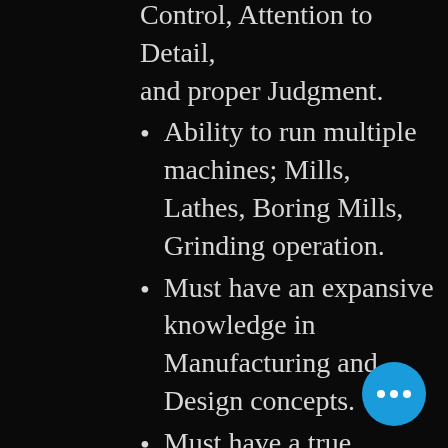Control, Attention to Detail, and proper Judgment.
Ability to run multiple machines; Mills, Lathes, Boring Mills, Grinding operation.
Must have an expansive knowledge in Manufacturing and Design concepts.
Must have a true understanding of manufacturing equipment, ability to understand function of equipment, Capabilities, understanding of equipment needed to achieve finish part sizes required.
Understanding of all